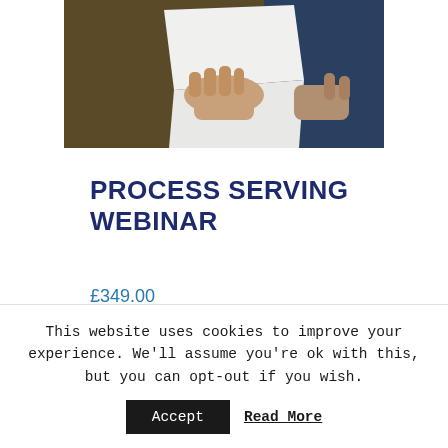[Figure (photo): Hands exchanging or holding white documents/papers, partial view of people in business attire]
PROCESS SERVING WEBINAR
£349.00
Process Serving is the bread and butter work for most professional private investigators bringing in a regular income stream.
This website uses cookies to improve your experience. We'll assume you're ok with this, but you can opt-out if you wish.